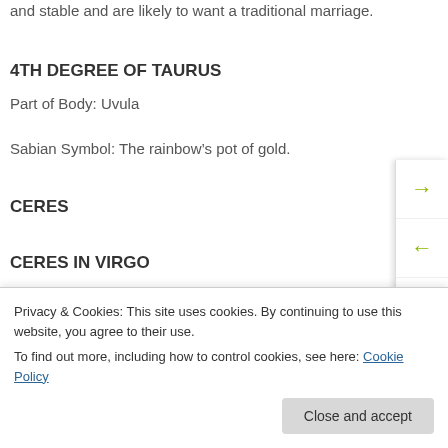and stable and are likely to want a traditional marriage.
4TH DEGREE OF TAURUS
Part of Body: Uvula
Sabian Symbol: The rainbow’s pot of gold.
CERES
CERES IN VIRGO
Privacy & Cookies: This site uses cookies. By continuing to use this website, you agree to their use.
To find out more, including how to control cookies, see here: Cookie Policy